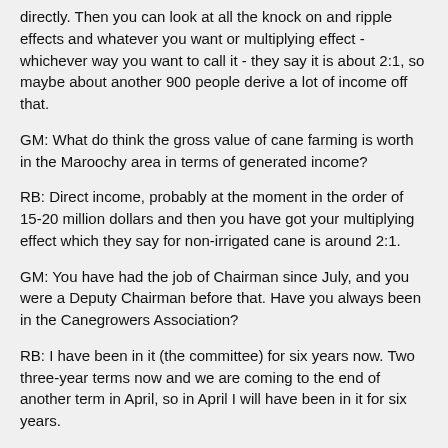directly. Then you can look at all the knock on and ripple effects and whatever you want or multiplying effect -whichever way you want to call it - they say it is about 2:1, so maybe about another 900 people derive a lot of income off that.
GM: What do think the gross value of cane farming is worth in the Maroochy area in terms of generated income?
RB: Direct income, probably at the moment in the order of 15-20 million dollars and then you have got your multiplying effect which they say for non-irrigated cane is around 2:1.
GM: You have had the job of Chairman since July, and you were a Deputy Chairman before that. Have you always been in the Canegrowers Association?
RB: I have been in it (the committee) for six years now. Two three-year terms now and we are coming to the end of another term in April, so in April I will have been in it for six years.
GM: And that is on the executive?
RB: Yes, that is on the committee or the executive.